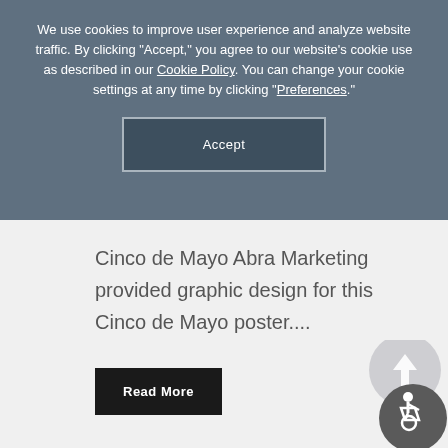We use cookies to improve user experience and analyze website traffic. By clicking "Accept," you agree to our website's cookie use as described in our Cookie Policy. You can change your cookie settings at any time by clicking "Preferences."
Accept
Cinco de Mayo Abra Marketing provided graphic design for this Cinco de Mayo poster....
Read More
[Figure (illustration): Accessibility icon - circular button with wheelchair user symbol in white on dark gray background, with a back-to-top arrow indicator above it]